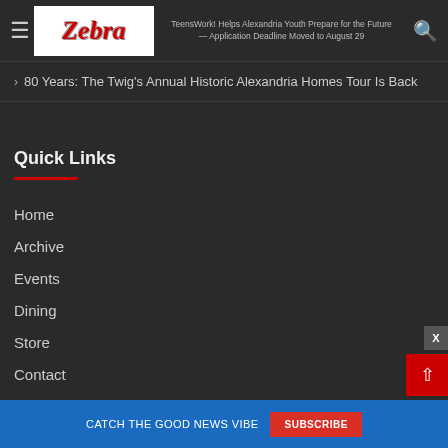Zebra — TeensWork! Helps Alexandria Youth Prepare for the Future — Application Deadline Moved to August 29
80 Years: The Twig's Annual Historic Alexandria Homes Tour Is Back
Quick Links
Home
Archive
Events
Dining
Store
Contact
CATCH THE GOOD NEWS VIBE   SUBSCRIBE